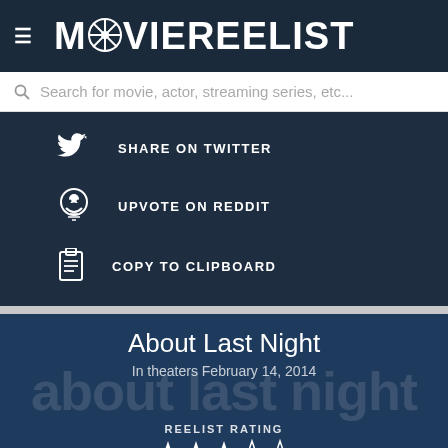MOVIEREELIST
Search for movie, actor, streaming series, etc...
SHARE ON TWITTER
UPVOTE ON REDDIT
COPY TO CLIPBOARD
About Last Night
In theaters February 14, 2014
REELIST RATING
[Figure (other): Star rating showing 2.5 out of 5 stars (3 filled, 2 empty)]
[Figure (photo): Movie still from About Last Night showing two actors lying in bed]